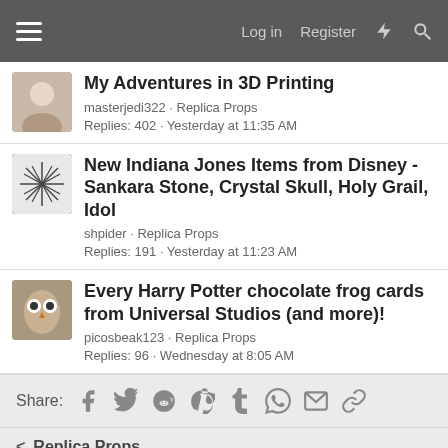Log in  Register
My Adventures in 3D Printing
masterjedi322 · Replica Props
Replies: 402 · Yesterday at 11:35 AM
New Indiana Jones Items from Disney - Sankara Stone, Crystal Skull, Holy Grail, Idol
shpider · Replica Props
Replies: 191 · Yesterday at 11:23 AM
Every Harry Potter chocolate frog cards from Universal Studios (and more)!
picosbeak123 · Replica Props
Replies: 96 · Wednesday at 8:05 AM
Share:
< Replica Props